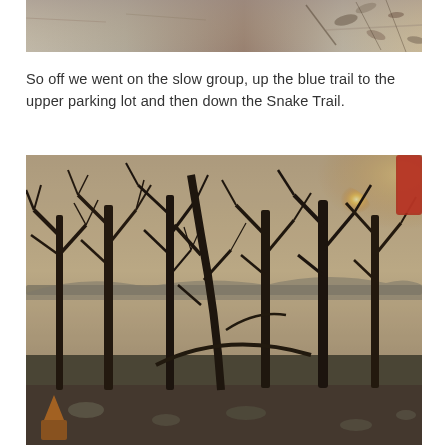[Figure (photo): Partial top photo showing ground/dirt trail surface with leaves and debris, cropped at top of page.]
So off we went on the slow group, up the blue trail to the upper parking lot and then down the Snake Trail.
[Figure (photo): Outdoor forest scene with bare winter trees, sunlight glowing through the branches from the upper right, rocky ground with leaves, taken during late afternoon/sunset.]